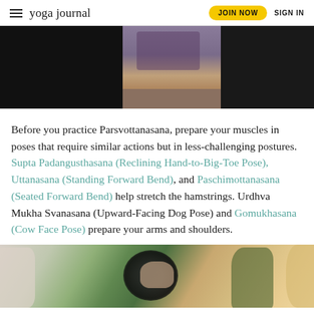yoga journal | JOIN NOW | SIGN IN
[Figure (photo): Top cropped image of yoga pose, split into dark left/right sections with a center section showing purple yoga mat and wooden floor]
Before you practice Parsvottanasana, prepare your muscles in poses that require similar actions but in less-challenging postures. Supta Padangusthasana (Reclining Hand-to-Big-Toe Pose), Uttanasana (Standing Forward Bend), and Paschimottanasana (Seated Forward Bend) help stretch the hamstrings. Urdhva Mukha Svanasana (Upward-Facing Dog Pose) and Gomukhasana (Cow Face Pose) prepare your arms and shoulders.
[Figure (photo): Bottom cropped image of a person doing a yoga pose with hands behind head, surrounded by large leafy plants in a garden-like setting]